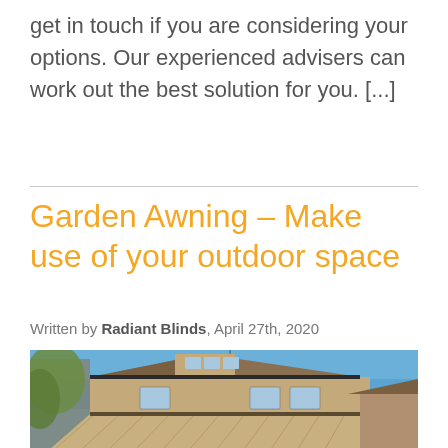get in touch if you are considering your options. Our experienced advisers can work out the best solution for you. [...]
Garden Awning – Make use of your outdoor space
Written by Radiant Blinds, April 27th, 2020
[Figure (photo): Exterior photo of a house with a large extended garden awning, blue sky background, brick facade, white windows visible]